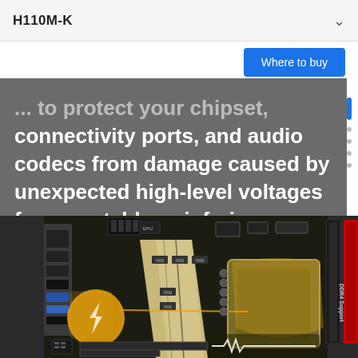H110M-K
connectivity ports, and audio codecs from damage caused by unexpected high-level voltages from unstable or inferior power supplies.
[Figure (photo): Photo of ASUS H110M-K motherboard highlighting surge protection circuits near the CPU socket and I/O ports, with yellow circle callouts indicating protected components including a lightning bolt symbol and an oscilloscope waveform symbol.]